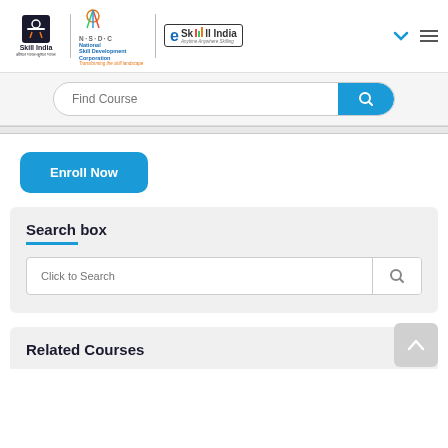[Figure (logo): Skill India, NSDC, and eSkill India logos in header navigation bar]
[Figure (screenshot): Find Course search bar with blue search button]
[Figure (screenshot): Enroll Now blue button]
Search box
[Figure (screenshot): Click to Search input box with search icon]
Related Courses